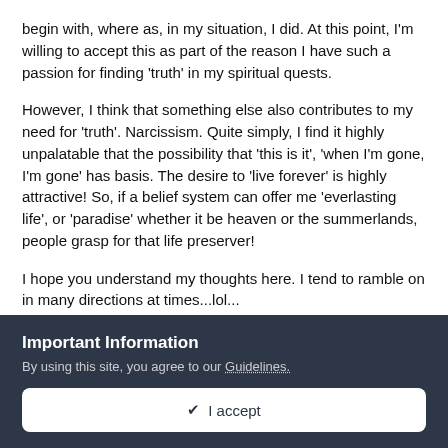begin with, where as, in my situation, I did. At this point, I'm willing to accept this as part of the reason I have such a passion for finding 'truth' in my spiritual quests.
However, I think that something else also contributes to my need for 'truth'. Narcissism. Quite simply, I find it highly unpalatable that the possibility that 'this is it', 'when I'm gone, I'm gone' has basis. The desire to 'live forever' is highly attractive! So, if a belief system can offer me 'everlasting life', or 'paradise' whether it be heaven or the summerlands, people grasp for that life preserver!
I hope you understand my thoughts here. I tend to ramble on in many directions at times...lol...
These are my thoughts....I always welcome yours. 🙂
Important Information
By using this site, you agree to our Guidelines.
✔ I accept